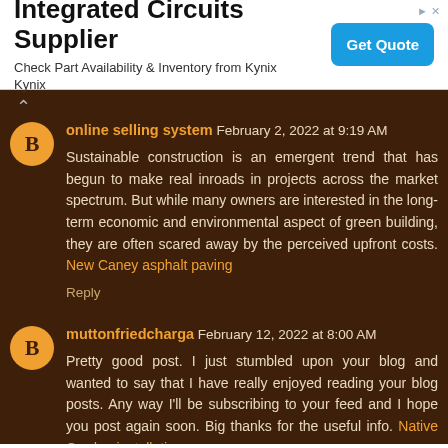[Figure (other): Advertisement banner for Integrated Circuits Supplier with a 'Get Quote' button]
online selling system February 2, 2022 at 9:19 AM
Sustainable construction is an emergent trend that has begun to make real inroads in projects across the market spectrum. But while many owners are interested in the long-term economic and environmental aspect of green building, they are often scared away by the perceived upfront costs. New Caney asphalt paving
Reply
muttonfriedcharga February 12, 2022 at 8:00 AM
Pretty good post. I just stumbled upon your blog and wanted to say that I have really enjoyed reading your blog posts. Any way I'll be subscribing to your feed and I hope you post again soon. Big thanks for the useful info. Native Garden installation